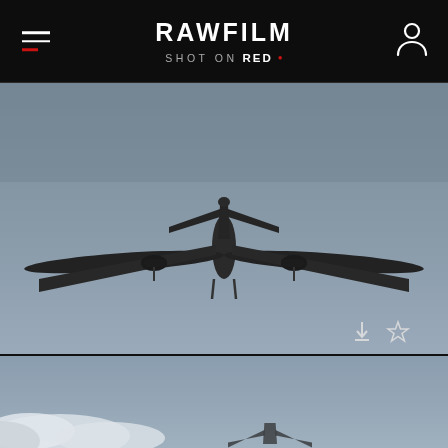RAWFILM | SHOT ON RED
[Figure (photo): Aerial view of a private jet aircraft seen from below against a grey/blue overcast sky, flying overhead with landing gear visible]
[Figure (photo): Partial view of an airplane with white clouds and blue sky in the background — bottom portion of another aircraft photo]